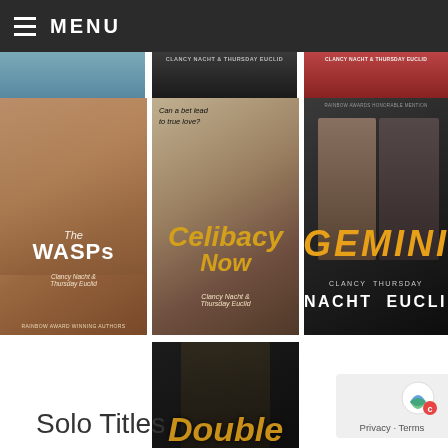MENU
[Figure (illustration): Book cover: The WASPs by Clancy Nacht & Thursday Euclid — Rainbow Award Winning Authors, man in white briefs]
[Figure (illustration): Book cover: Celibacy Now by Clancy Nacht & Thursday Euclid — tagline: Can a bet lead to true love?]
[Figure (illustration): Book cover: Gemini by Clancy Nacht & Thursday Euclid — Rainbow Awards Honorable Mention]
[Figure (illustration): Book cover: Double Black (Black Gold Book 2) by Clancy Nacht & Thursday Euclid]
Solo Titles